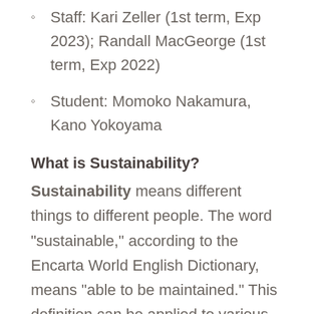Staff: Kari Zeller (1st term, Exp 2023); Randall MacGeorge (1st term, Exp 2022)
Student: Momoko Nakamura, Kano Yokoyama
What is Sustainability?
Sustainability means different things to different people. The word “sustainable,” according to the Encarta World English Dictionary, means “able to be maintained.” This definition can be applied to various subject matters,